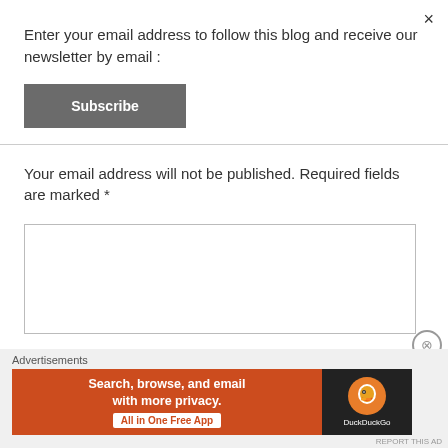×
Enter your email address to follow this blog and receive our newsletter by email :
Subscribe
Your email address will not be published. Required fields are marked *
[Figure (screenshot): Empty textarea/comment input box with border]
Advertisements
[Figure (screenshot): DuckDuckGo advertisement banner: orange background with text 'Search, browse, and email with more privacy. All in One Free App' and DuckDuckGo logo on dark background]
REPORT THIS AD